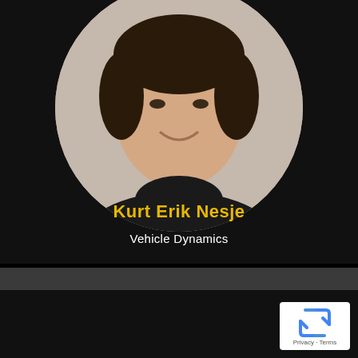[Figure (photo): Headshot photo of a young man with short dark hair wearing a black shirt, smiling, set against a light gray/beige background, displayed in a circular crop on a dark background.]
Kurt Erik Nesje
Vehicle Dynamics
[Figure (logo): Google reCAPTCHA badge with the reCAPTCHA logo (blue recycling-style arrows) and links to Privacy and Terms, shown as a small white rounded rectangle in the bottom-right corner.]